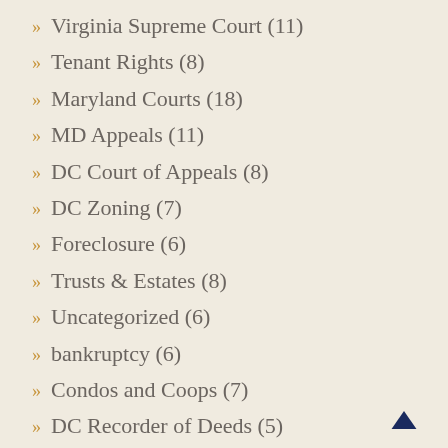Virginia Supreme Court (11)
Tenant Rights (8)
Maryland Courts (18)
MD Appeals (11)
DC Court of Appeals (8)
DC Zoning (7)
Foreclosure (6)
Trusts & Estates (8)
Uncategorized (6)
bankruptcy (6)
Condos and Coops (7)
DC Recorder of Deeds (5)
fair housing (4)